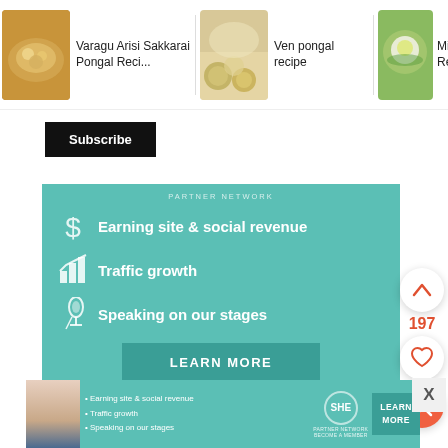[Figure (screenshot): Recipe carousel showing three food recipe thumbnails: Varagu Arisi Sakkarai Pongal Reci..., Ven pongal recipe, Millet Pong... Recipe with a right arrow navigation button]
[Figure (screenshot): Black Subscribe button]
[Figure (infographic): SHE Partner Network teal advertisement banner with dollar sign icon: Earning site & social revenue, bar chart icon: Traffic growth, microphone icon: Speaking on our stages, and a LEARN MORE button]
[Figure (screenshot): Side UI buttons: up arrow circle button, 197 vote count in red, heart circle button, orange search/magnifier circle button]
17)Add little ghee at a time and keep mixing.
[Figure (infographic): Bottom SHE Partner Network banner ad with person photo, bullet points: Earning site & social revenue, Traffic growth, Speaking on our stages, SHE Partner Network logo, LEARN MORE button, and X close button]